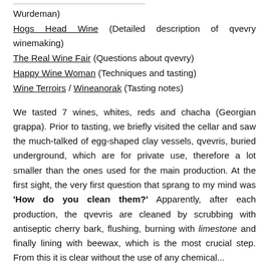Wurdeman)
Hogs Head Wine (Detailed description of qvevry winemaking)
The Real Wine Fair (Questions about qvevry)
Happy Wine Woman (Techniques and tasting)
Wine Terroirs / Wineanorak (Tasting notes)
We tasted 7 wines, whites, reds and chacha (Georgian grappa). Prior to tasting, we briefly visited the cellar and saw the much-talked of egg-shaped clay vessels, qvevris, buried underground, which are for private use, therefore a lot smaller than the ones used for the main production. At the first sight, the very first question that sprang to my mind was 'How do you clean them?' Apparently, after each production, the qvevris are cleaned by scrubbing with antiseptic cherry bark, flushing, burning with limestone and finally lining with beewax, which is the most crucial step. From this it is clear without the use of any chemical...